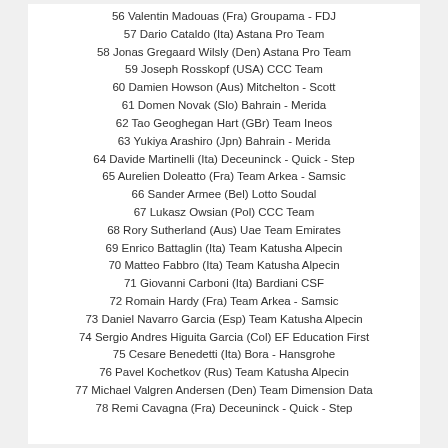56 Valentin Madouas (Fra) Groupama - FDJ
57 Dario Cataldo (Ita) Astana Pro Team
58 Jonas Gregaard Wilsly (Den) Astana Pro Team
59 Joseph Rosskopf (USA) CCC Team
60 Damien Howson (Aus) Mitchelton - Scott
61 Domen Novak (Slo) Bahrain - Merida
62 Tao Geoghegan Hart (GBr) Team Ineos
63 Yukiya Arashiro (Jpn) Bahrain - Merida
64 Davide Martinelli (Ita) Deceuninck - Quick - Step
65 Aurelien Doleatto (Fra) Team Arkea - Samsic
66 Sander Armee (Bel) Lotto Soudal
67 Lukasz Owsian (Pol) CCC Team
68 Rory Sutherland (Aus) Uae Team Emirates
69 Enrico Battaglin (Ita) Team Katusha Alpecin
70 Matteo Fabbro (Ita) Team Katusha Alpecin
71 Giovanni Carboni (Ita) Bardiani CSF
72 Romain Hardy (Fra) Team Arkea - Samsic
73 Daniel Navarro Garcia (Esp) Team Katusha Alpecin
74 Sergio Andres Higuita Garcia (Col) EF Education First
75 Cesare Benedetti (Ita) Bora - Hansgrohe
76 Pavel Kochetkov (Rus) Team Katusha Alpecin
77 Michael Valgren Andersen (Den) Team Dimension Data
78 Remi Cavagna (Fra) Deceuninck - Quick - Step